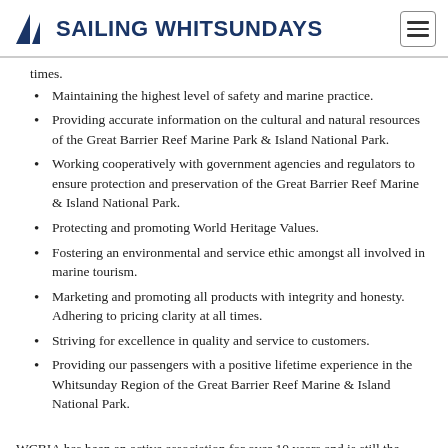SAILING WHITSUNDAYS
times.
Maintaining the highest level of safety and marine practice.
Providing accurate information on the cultural and natural resources of the Great Barrier Reef Marine Park & Island National Park.
Working cooperatively with government agencies and regulators to ensure protection and preservation of the Great Barrier Reef Marine & Island National Park.
Protecting and promoting World Heritage Values.
Fostering an environmental and service ethic amongst all involved in marine tourism.
Marketing and promoting all products with integrity and honesty. Adhering to pricing clarity at all times.
Striving for excellence in quality and service to customers.
Providing our passengers with a positive lifetime experience in the Whitsunday Region of the Great Barrier Reef Marine & Island National Park.
WCBIA has been an active association for over 10 years and is still the premium Whitsunday organization that helps keep the